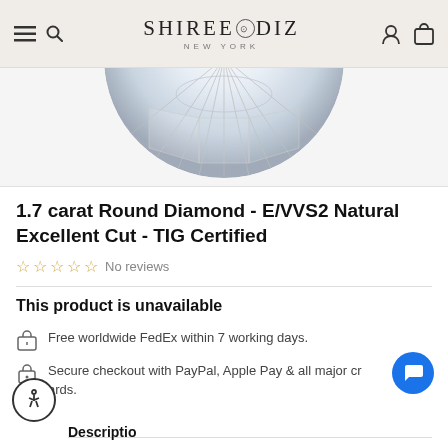SHIREE⊙DIZ NEW YORK
[Figure (photo): Partial view of a round cut diamond from top, showing facets and brilliance, on a light gray background]
1.7 carat Round Diamond - E/VVS2 Natural Excellent Cut - TIG Certified
☆ ☆ ☆ ☆ ☆ No reviews
This product is unavailable
Free worldwide FedEx within 7 working days.
Secure checkout with PayPal, Apple Pay & all major credit cards.
Description